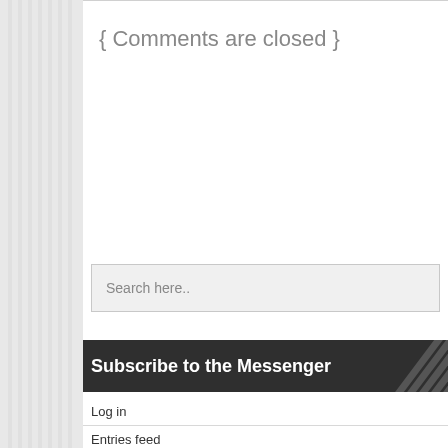{ Comments are closed }
Search here..
Subscribe to the Messenger
Log in
Entries feed
Comments feed